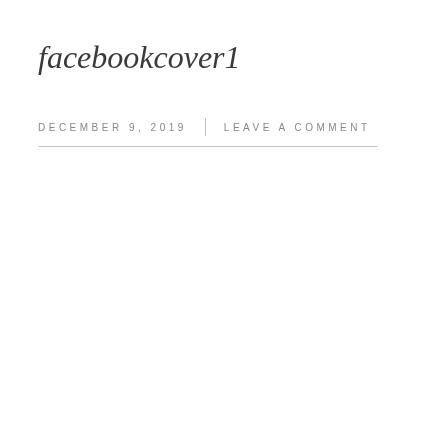facebookcover1
DECEMBER 9, 2019   |   LEAVE A COMMENT